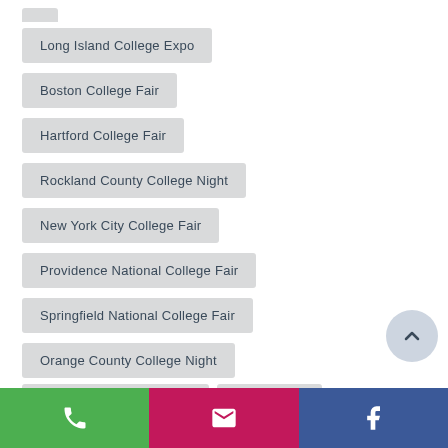Long Island College Expo
Boston College Fair
Hartford College Fair
Rockland County College Night
New York City College Fair
Providence National College Fair
Springfield National College Fair
Orange County College Night
Philadelphia College Fair
STEM NYC
STEM Boston
Atlantic City College Fair
Montgomery County National College Fair